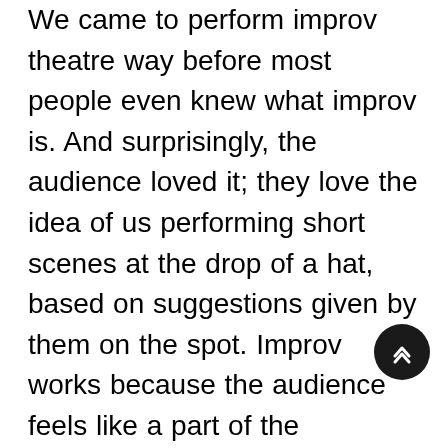We came to perform improv theatre way before most people even knew what improv is. And surprisingly, the audience loved it; they love the idea of us performing short scenes at the drop of a hat, based on suggestions given by them on the spot. Improv works because the audience feels like a part of the performance. Because they are not alienated away from the stage. So obviously they enjoy it more and they feel involved. Improv is something we have been doing every now and then, and our audience loves our improv performances. Apart from improv, another thing that defines us is our shows of absurd short plays written by the Australian